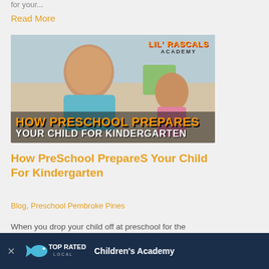for your...
Read More
[Figure (photo): Lil Rascals Academy promotional image showing children playing with text 'HOW PRESCHOOL PREPARES YOUR CHILD FOR KINDERGARTEN']
How PreSchool PrepareS Your Child For Kindergarten
Blog, Preschool Pembroke Pines
When you drop your child off at preschool for the first time, it's hard to not feel like life is just flying before your little one... for...
[Figure (logo): Top Rated Local badge with Children's Academy label on dark blue banner]